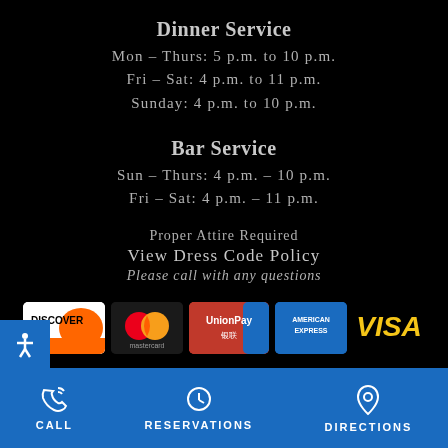Dinner Service
Mon – Thurs: 5 p.m. to 10 p.m.
Fri – Sat: 4 p.m. to 11 p.m.
Sunday: 4 p.m. to 10 p.m.
Bar Service
Sun – Thurs: 4 p.m. – 10 p.m.
Fri – Sat: 4 p.m. – 11 p.m.
Proper Attire Required
View Dress Code Policy
Please call with any questions
[Figure (logo): Payment method logos: Discover, Mastercard, UnionPay, American Express, Visa]
CALL   RESERVATIONS   DIRECTIONS